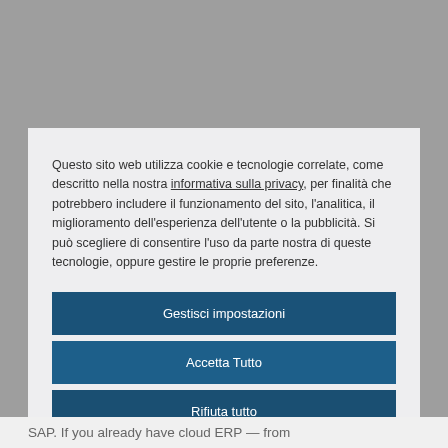Questo sito web utilizza cookie e tecnologie correlate, come descritto nella nostra informativa sulla privacy, per finalità che potrebbero includere il funzionamento del sito, l'analitica, il miglioramento dell'esperienza dell'utente o la pubblicità. Si può scegliere di consentire l'uso da parte nostra di queste tecnologie, oppure gestire le proprie preferenze.
Gestisci impostazioni
Accetta Tutto
Rifiuta tutto
Informativa sui cookie
SAP. If you already have cloud ERP — from